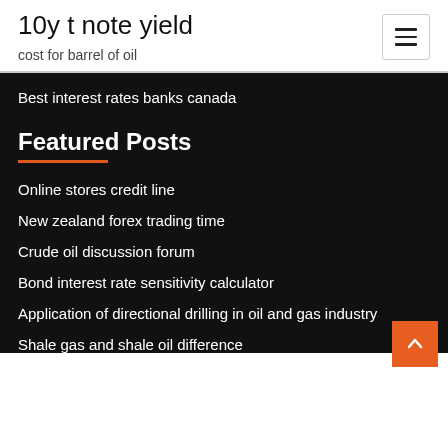10y t note yield
cost for barrel of oil
Best interest rates banks canada
Featured Posts
Online stores credit line
New zealand forex trading time
Crude oil discussion forum
Bond interest rate sensitivity calculator
Application of directional drilling in oil and gas industry
Shale gas and shale oil difference